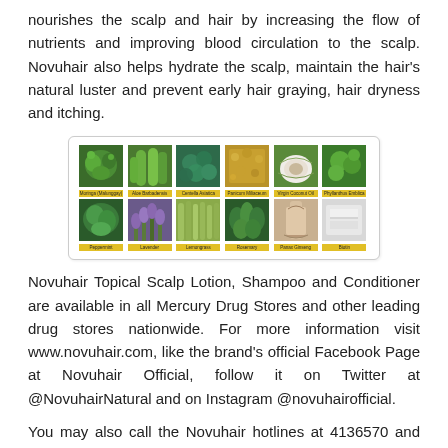nourishes the scalp and hair by increasing the flow of nutrients and improving blood circulation to the scalp. Novuhair also helps hydrate the scalp, maintain the hair's natural luster and prevent early hair graying, hair dryness and itching.
[Figure (photo): Grid of 12 herb/ingredient photos in 2 rows of 6, each with a yellow label below: Moringa (Malunggay), Aloe Barbadensis, Centella Asiatica, Panicum Miliaceum, Virgin Coconut Oil, Phyllanthus Emblica (top row); Peppermint, Lavender, Lemongrass, Rosemary, Panax Ginseng, Biotin (bottom row)]
Novuhair Topical Scalp Lotion, Shampoo and Conditioner are available in all Mercury Drug Stores and other leading drug stores nationwide. For more information visit www.novuhair.com, like the brand's official Facebook Page at Novuhair Official, follow it on Twitter at @NovuhairNatural and on Instagram @novuhairofficial.
You may also call the Novuhair hotlines at 4136570 and 09228830575 and order online at Lazada and